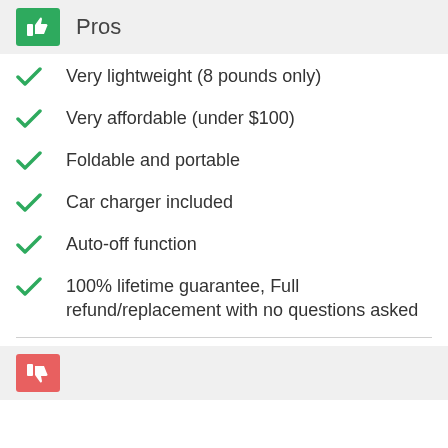Pros
Very lightweight (8 pounds only)
Very affordable (under $100)
Foldable and portable
Car charger included
Auto-off function
100% lifetime guarantee, Full refund/replacement with no questions asked
Cons